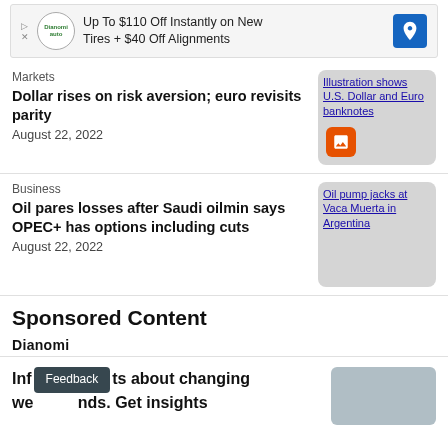[Figure (other): Advertisement banner: Up To $110 Off Instantly on New Tires + $40 Off Alignments with Dianomi auto logo and directional icon]
Markets
Dollar rises on risk aversion; euro revisits parity
August 22, 2022
[Figure (photo): Illustration shows U.S. Dollar and Euro banknotes]
Business
Oil pares losses after Saudi oilmin says OPEC+ has options including cuts
August 22, 2022
[Figure (photo): Oil pump jacks at Vaca Muerta in Argentina]
Sponsored Content
[Figure (logo): Dianomi logo]
Informs about changing trends. Get insights
[Figure (photo): Woman with glasses, partial view]